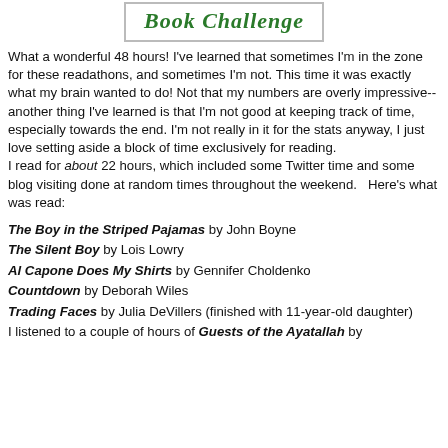[Figure (logo): Book Challenge logo with stylized green italic text 'Book Challenge' inside a bordered box]
What a wonderful 48 hours! I've learned that sometimes I'm in the zone for these readathons, and sometimes I'm not. This time it was exactly what my brain wanted to do! Not that my numbers are overly impressive--another thing I've learned is that I'm not good at keeping track of time, especially towards the end. I'm not really in it for the stats anyway, I just love setting aside a block of time exclusively for reading.
I read for about 22 hours, which included some Twitter time and some blog visiting done at random times throughout the weekend.   Here's what was read:
The Boy in the Striped Pajamas by John Boyne
The Silent Boy by Lois Lowry
Al Capone Does My Shirts by Gennifer Choldenko
Countdown by Deborah Wiles
Trading Faces by Julia DeVillers (finished with 11-year-old daughter)
I listened to a couple of hours of Guests of the Ayatallah by